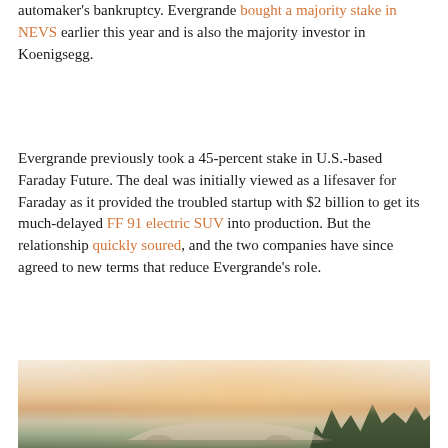automaker's bankruptcy. Evergrande bought a majority stake in NEVS earlier this year and is also the majority investor in Koenigsegg.
Evergrande previously took a 45-percent stake in U.S.-based Faraday Future. The deal was initially viewed as a lifesaver for Faraday as it provided the troubled startup with $2 billion to get its much-delayed FF 91 electric SUV into production. But the relationship quickly soured, and the two companies have since agreed to new terms that reduce Evergrande's role.
[Figure (photo): A hazy outdoor scene showing a car silhouette in the foreground with trees in the background under a warm glowing sky.]